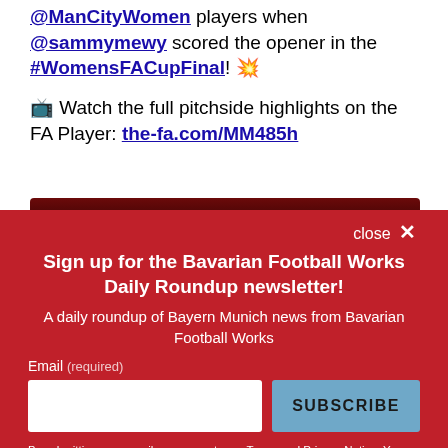@ManCityWomen players when @sammymewy scored the opener in the #WomensFACupFinal! 💥
📺 Watch the full pitchside highlights on the FA Player: the-fa.com/MM485h
[Figure (photo): Partial image strip showing a dark reddish background, cropped at bottom]
close ✕
Sign up for the Bavarian Football Works Daily Roundup newsletter!
A daily roundup of Bayern Munich news from Bavarian Football Works
Email (required)
SUBSCRIBE
By submitting your email, you agree to our Terms and Privacy Notice. You can opt out at any time. This site is protected by reCAPTCHA and the Google Privacy Policy and Terms of Service apply.